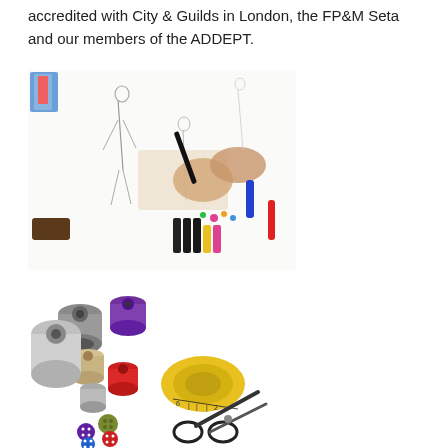accredited with City & Guilds in London, the FP&M Seta and our members of the ADDEPT.
[Figure (photo): A person's hands sketching fashion design figures on paper, surrounded by markers, pens, and fabric swatches on a white surface.]
[Figure (photo): Sewing and tailoring tools arranged on a white surface, including spools of thread in various colors, a yellow measuring tape, scissors, and buttons.]